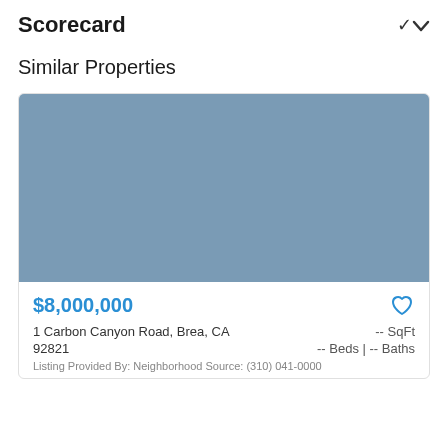Scorecard
Similar Properties
[Figure (photo): Placeholder gray-blue property image]
$8,000,000
1 Carbon Canyon Road, Brea, CA 92821
-- SqFt
-- Beds | -- Baths
Listing Provided By: Neighborhood Source: (310) 041-0000